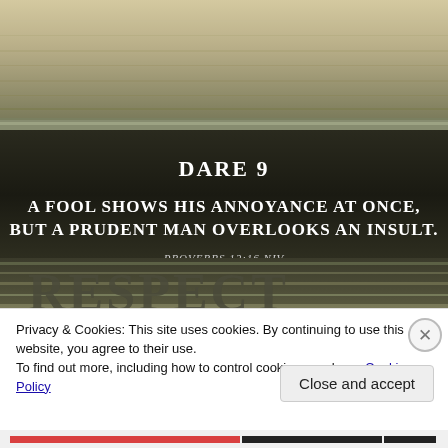[Figure (photo): Frost-covered field landscape (aerial/ground view) with dark band in the middle containing white text 'Dare 9' and a Bible verse quote. Bottom of the image partially shows large decorative text appearing to read 'RESPECT'.]
Privacy & Cookies: This site uses cookies. By continuing to use this website, you agree to their use.
To find out more, including how to control cookies, see here: Cookie Policy
Close and accept